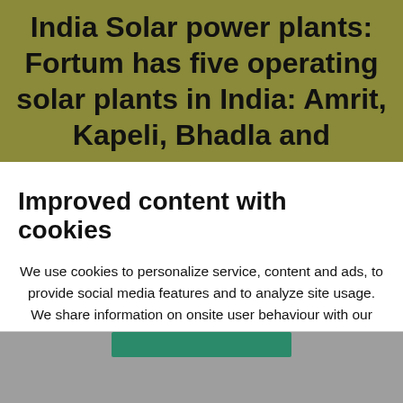India Solar power plants: Fortum has five operating solar plants in India: Amrit, Kapeli, Bhadla and
Improved content with cookies
We use cookies to personalize service, content and ads, to provide social media features and to analyze site usage. We share information on onsite user behaviour with our partners. You can manage and disable cookies via Cookie Settings. For further information please visit our Cookie Policy